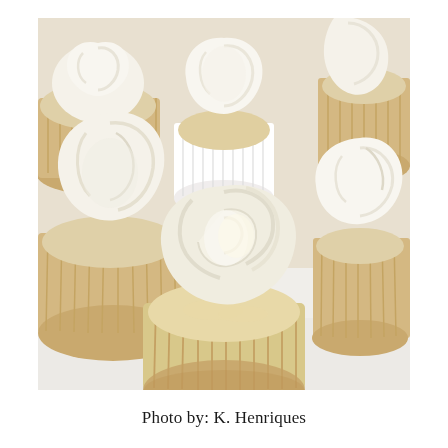[Figure (photo): Close-up photograph of multiple vanilla cupcakes with white/cream swirled frosting in brown paper cupcake liners, arranged on a white surface. The cupcakes have a golden-beige sponge base and tall rosette-style frosting swirls.]
Photo by: K. Henriques